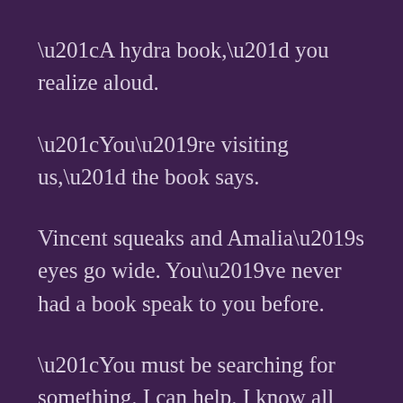“A hydra book,” you realize aloud.
“You’re visiting us,” the book says.
Vincent squeaks and Amalia’s eyes go wide. You’ve never had a book speak to you before.
“You must be searching for something. I can help. I know all the monster books,” the hydra goes on, “but first,